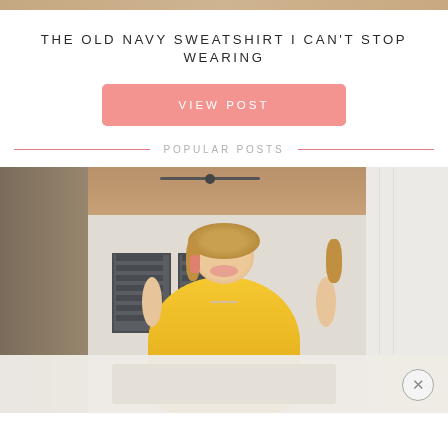[Figure (photo): Partial top image strip showing a lifestyle/fashion blog header photo]
THE OLD NAVY SWEATSHIRT I CAN'T STOP WEARING
VIEW POST
POPULAR POSTS
[Figure (photo): Woman in yellow top standing on a white porch with ceiling fan and windows visible in background]